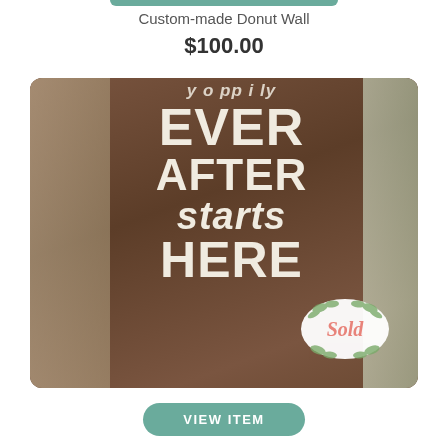Custom-made Donut Wall
$100.00
[Figure (photo): A brown wooden sign with white text reading 'happily ever after starts here', partially cropped. A 'Sold' oval badge with eucalyptus leaves overlay is visible in the lower right corner. Wooden frames and outdoor scenery visible on sides.]
VIEW ITEM